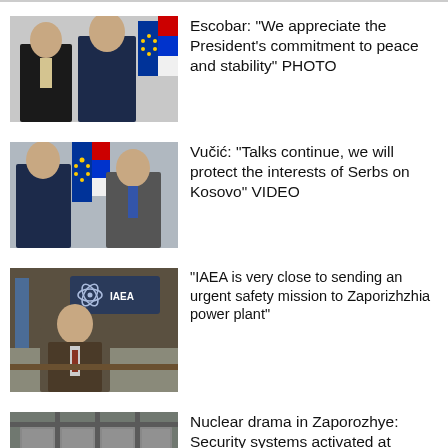[Figure (photo): Two men in suits posing for a photo, with EU and Serbian flags in the background]
Escobar: "We appreciate the President's commitment to peace and stability" PHOTO
[Figure (photo): Two men in suits standing together with EU and Serbian flags in the background]
Vučić: "Talks continue, we will protect the interests of Serbs on Kosovo" VIDEO
[Figure (photo): Man in suit seated at a desk with IAEA logo visible in background, UN flag to the left]
"IAEA is very close to sending an urgent safety mission to Zaporizhzhia power plant"
[Figure (photo): Aerial view of nuclear power plant infrastructure]
Nuclear drama in Zaporozhye: Security systems activated at